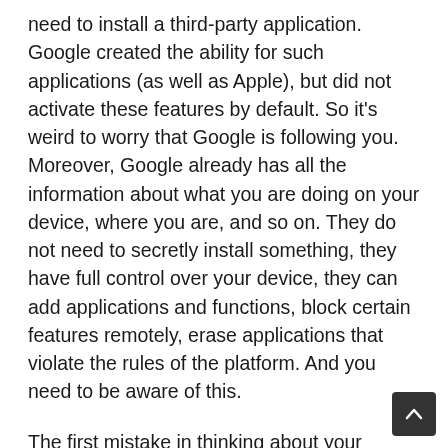need to install a third-party application. Google created the ability for such applications (as well as Apple), but did not activate these features by default. So it's weird to worry that Google is following you. Moreover, Google already has all the information about what you are doing on your device, where you are, and so on. They do not need to secretly install something, they have full control over your device, they can add applications and functions, block certain features remotely, erase applications that violate the rules of the platform. And you need to be aware of this.
The first mistake in thinking about your device is that it belongs to you and only you determine what you can put and delete from its memory. This is not true! The platform provider chooses which applications to install, as well as the manufacturer, they can make such